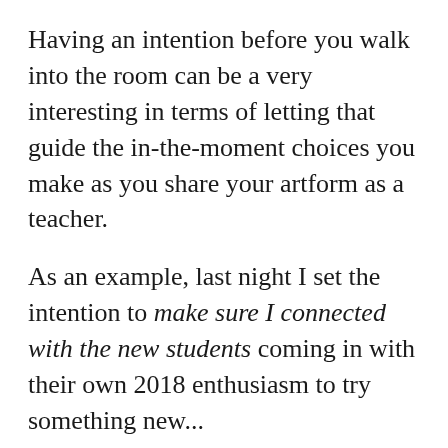Having an intention before you walk into the room can be a very interesting in terms of letting that guide the in-the-moment choices you make as you share your artform as a teacher.
As an example, last night I set the intention to make sure I connected with the new students coming in with their own 2018 enthusiasm to try something new...
The most basic piece of this